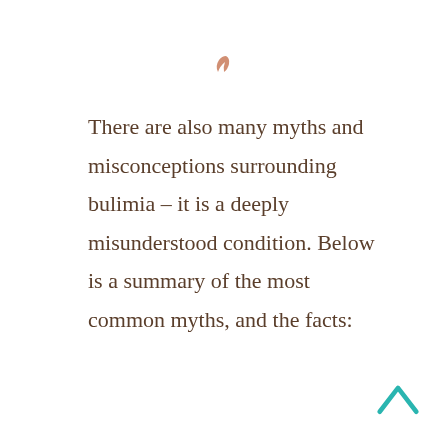[Figure (illustration): Small decorative terracotta/orange leaf or comma-like icon at the top center of the page]
There are also many myths and misconceptions surrounding bulimia – it is a deeply misunderstood condition. Below is a summary of the most common myths, and the facts:
[Figure (illustration): Teal/cyan upward chevron arrow in the bottom right corner]